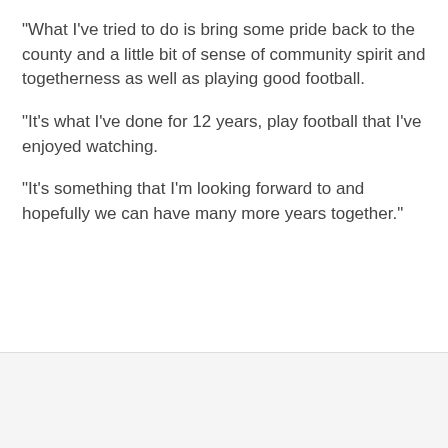“What I’ve tried to do is bring some pride back to the county and a little bit of sense of community spirit and togetherness as well as playing good football.
“It’s what I’ve done for 12 years, play football that I’ve enjoyed watching.
“It’s something that I’m looking forward to and hopefully we can have many more years together.”
[Figure (screenshot): Advertisement banner showing a person with logos for cinch, AIA, and BPLAY on a dark purple background, with close buttons]